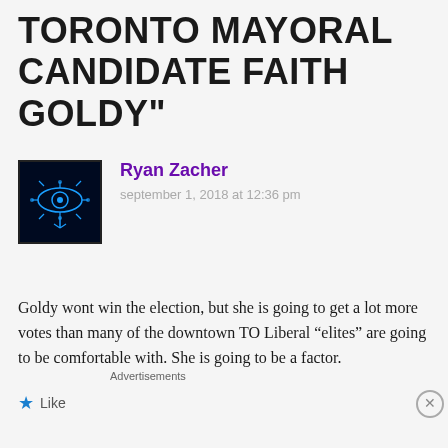TORONTO MAYORAL CANDIDATE FAITH GOLDY"
Ryan Zacher
september 1, 2018 at 12:36 pm
Goldy wont win the election, but she is going to get a lot more votes than many of the downtown TO Liberal “elites” are going to be comfortable with. She is going to be a factor.
Like
Advertisements
[Figure (screenshot): DuckDuckGo advertisement banner: orange background with text 'Search, browse, and email with more privacy. All in One Free App' and DuckDuckGo logo on dark right panel]